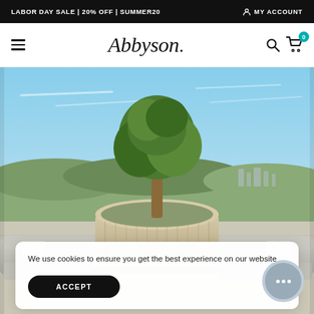LABOR DAY SALE | 20% OFF | SUMMER20   MY ACCOUNT
Abbyson. [navigation with hamburger menu, search, and cart with 0 badge]
[Figure (photo): Outdoor rooftop patio scene with wicker/rattan lounge chairs and sofas in light gray, a large round stone planter with a green tree, and a panoramic skyline view in the background under a blue sky.]
We use cookies to ensure you get the best experience on our website
ACCEPT